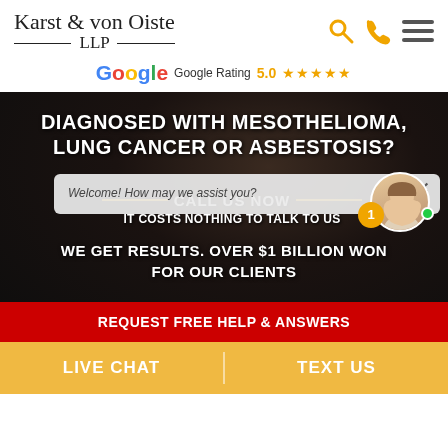[Figure (logo): Karst & von Oiste LLP law firm logo with serif text and horizontal rules]
Google Rating  5.0 ★★★★★
[Figure (screenshot): Hero banner with dark smoky background showing mesothelioma law firm advertisement with text: DIAGNOSED WITH MESOTHELIOMA, LUNG CANCER OR ASBESTOSIS? CALL US NOW IT COSTS NOTHING TO TALK TO US WE GET RESULTS. OVER $1 BILLION WON FOR OUR CLIENTS. Chat popup overlay with Welcome! How may we assist you? REQUEST FREE HELP & ANSWERS red button.]
LIVE CHAT
TEXT US